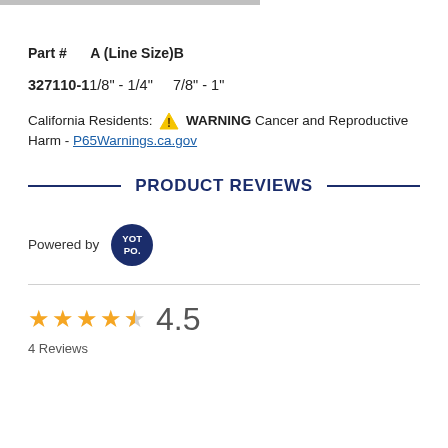Part #    A (Line Size)B
327110-1 1/8" - 1/4"    7/8" - 1"
California Residents: ⚠ WARNING Cancer and Reproductive Harm - P65Warnings.ca.gov
PRODUCT REVIEWS
Powered by YOTPO.
4.5  4 Reviews